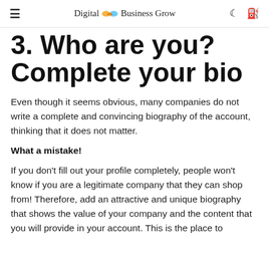Digital Business Grow
3. Who are you? Complete your bio
Even though it seems obvious, many companies do not write a complete and convincing biography of the account, thinking that it does not matter.
What a mistake!
If you don't fill out your profile completely, people won't know if you are a legitimate company that they can shop from! Therefore, add an attractive and unique biography that shows the value of your company and the content that you will provide in your account. This is the place to